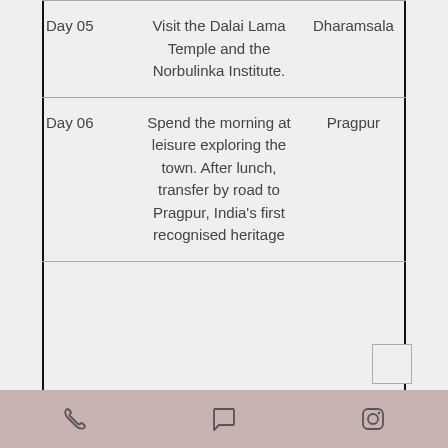| Day | Activity | Location |
| --- | --- | --- |
| Day 05 | Visit the Dalai Lama Temple and the Norbulinka Institute. | Dharamsala |
| Day 06 | Spend the morning at leisure exploring the town. After lunch, transfer by road to Pragpur, India's first recognised heritage | Pragpur |
[phone icon] [chat icon] [instagram icon]